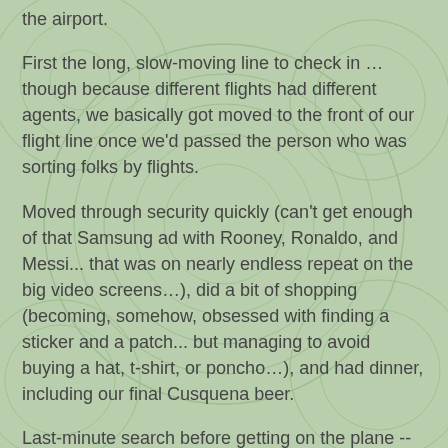the airport.
First the long, slow-moving line to check in … though because different flights had different agents, we basically got moved to the front of our flight line once we'd passed the person who was sorting folks by flights.
Moved through security quickly (can't get enough of that Samsung ad with Rooney, Ronaldo, and Messi... that was on nearly endless repeat on the big video screens…), did a bit of shopping (becoming, somehow, obsessed with finding a sticker and a patch... but managing to avoid buying a hat, t-shirt, or poncho…), and had dinner, including our final Cusquena beer.
Last-minute search before getting on the plane -- no liquids in the carry-ons. Then on the plane, where we tried to sleep.
Sadly, no vegetarian food options -- so I just turned off my light and tried to relax.
Arrived in Houston, cleared immigration using weird